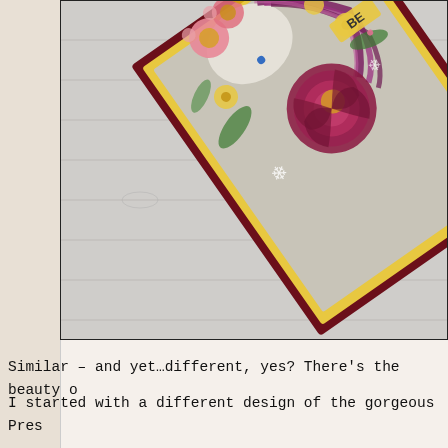[Figure (photo): A crafted greeting card with a unicorn decorated with pressed flowers (pink daisies, yellow flowers, deep magenta rose) with 'BE' visible text on a yellow banner, placed at an angle on a whitewashed wood background. The left side of the image shows a cream/white textured paper strip.]
Similar – and yet…different, yes?  There's the beauty o
I started with a different design of the gorgeous Pres